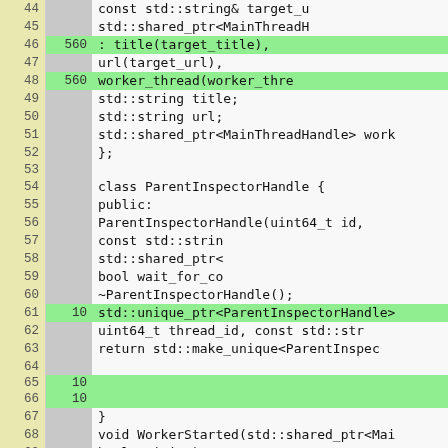[Figure (screenshot): Code coverage viewer showing C++ source lines 44-70 with line numbers in yellow-green left column, hit counts in gray/green middle column, and code content on right. Green highlighted rows indicate covered lines (hit count shown). Gray rows are uncovered or not executable.]